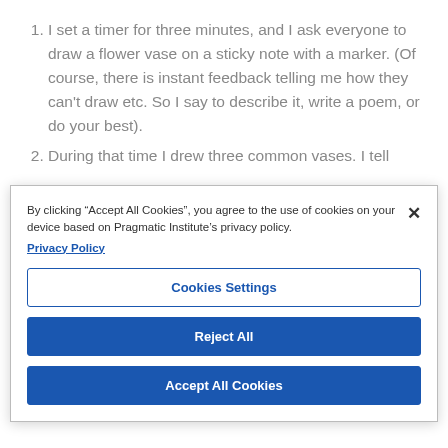I set a timer for three minutes, and I ask everyone to draw a flower vase on a sticky note with a marker. (Of course, there is instant feedback telling me how they can't draw etc. So I say to describe it, write a poem, or do your best).
During that time I drew three common vases. I tell
By clicking "Accept All Cookies", you agree to the use of cookies on your device based on Pragmatic Institute's privacy policy.
Privacy Policy
Cookies Settings
Reject All
Accept All Cookies